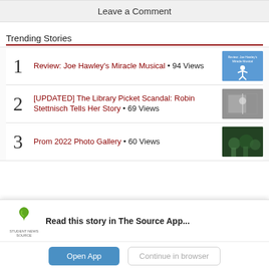Leave a Comment
Trending Stories
1 Review: Joe Hawley's Miracle Musical • 94 Views
2 [UPDATED] The Library Picket Scandal: Robin Stettnisch Tells Her Story • 69 Views
3 Prom 2022 Photo Gallery • 60 Views
Read this story in The Source App...
Open App
Continue in browser